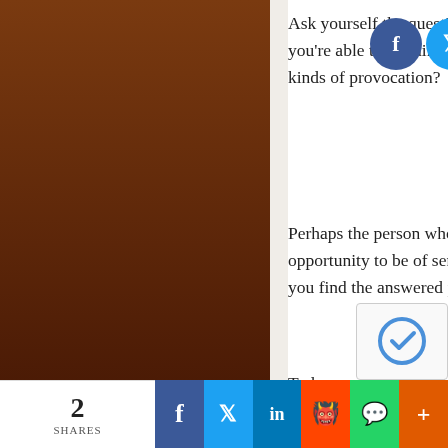[Figure (other): Social media share icons (Facebook, Twitter, Instagram, YouTube, LinkedIn) overlaid on top of text]
Ask yourself the question: are you able to remain loving and kind in all kinds of provocation?
Perhaps the person who is provoking is giving you an opportunity to be of service. If your intention is to serve, you find the answered prayer in the challenge.
Today you can expand your idea of service and aim higher in moments of frustration. Today, look to serve to the highest possibility of peace and Love. When we serve the Light in all, we are living our true purpose and life is so much more beautiful!
To see the Light, Be it.
Be it to see it.
[Figure (other): reCAPTCHA widget in bottom-right corner]
2 SHARES | Facebook | Twitter | LinkedIn | Reddit | WhatsApp | More